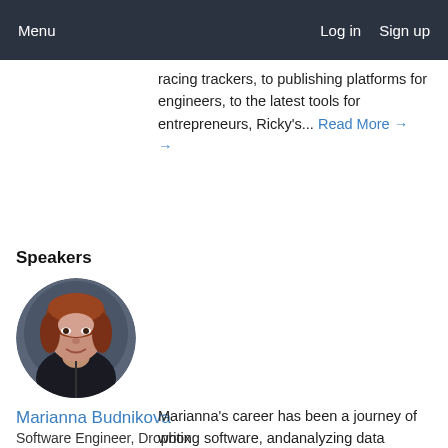Menu    Log in   Sign up
racing trackers, to publishing platforms for engineers, to the latest tools for entrepreneurs, Ricky's... Read More →
Speakers
[Figure (photo): Circular headshot photo of Marianna Budnikova, a woman with red/auburn hair, smiling, wearing a dark jacket, against a dark background.]
Marianna Budnikova
Software Engineer, Dropbox
Marianna's career has been a journey of writing software, andanalyzing data